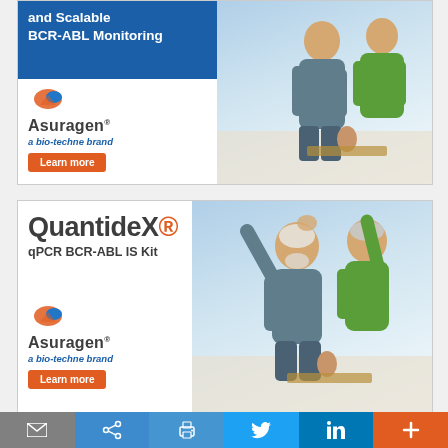[Figure (illustration): Top Asuragen advertisement banner for BCR-ABL Monitoring with 'and Scalable BCR-ABL Monitoring' heading, Asuragen logo (a bio-techne brand), Learn more button, and photo of two people (older man and younger person in green shirt) in kitchen setting]
[Figure (illustration): Bottom Asuragen advertisement banner featuring QuantideX qPCR BCR-ABL IS Kit, Asuragen logo (a bio-techne brand), Learn more button, and photo of elderly couple dancing/celebrating in kitchen]
[Figure (illustration): Social media sharing toolbar at bottom with email, share, print, Twitter, LinkedIn, and plus icons]